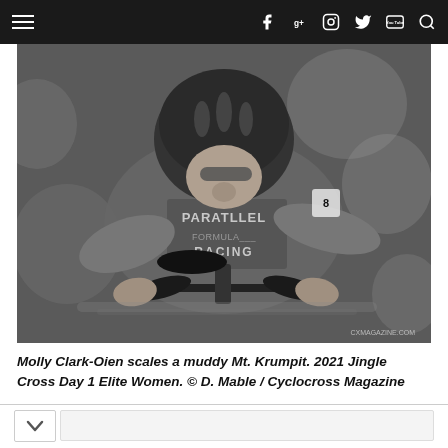Navigation bar with hamburger menu, social icons (Facebook, Google+, Instagram, Twitter, YouTube) and search
[Figure (photo): Black and white photograph of Molly Clark-Oien riding a cyclocross bicycle, leaning over handlebars, wearing a helmet and Parallel Racing jersey. Watermark: CXMAGAZINE.COM in lower right corner.]
Molly Clark-Oien scales a muddy Mt. Krumpit. 2021 Jingle Cross Day 1 Elite Women. © D. Mable / Cyclocross Magazine